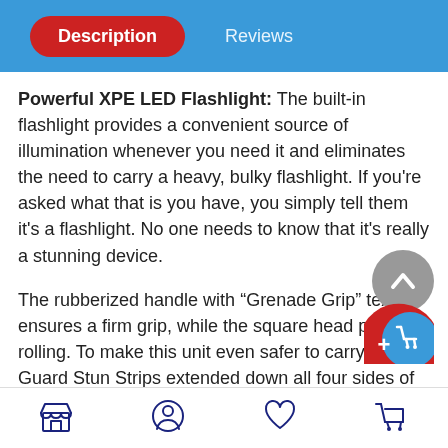Description | Reviews
Powerful XPE LED Flashlight: The built-in flashlight provides a convenient source of illumination whenever you need it and eliminates the need to carry a heavy, bulky flashlight. If you're asked what that is you have, you simply tell them it's a flashlight. No one needs to know that it's really a stunning device.
The rubberized handle with “Grenade Grip” texture ensures a firm grip, while the square head prevents rolling. To make this unit even safer to carry, Grab Guard Stun Strips extended down all four sides of the unit in order to shock anyone who would attempt to take it from you. The recharging cord (included) plugs into a standard wall outlet to save you money on batteries and protect the
Store | Profile | Favorites | Cart